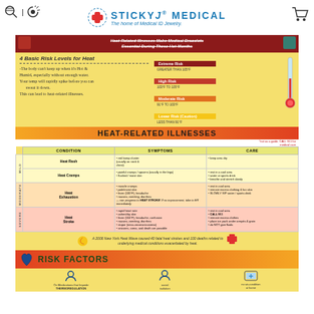StickyJ Medical — The home of Medical ID Jewelry.
[Figure (infographic): Heat-Related Illnesses infographic from StickyJ Medical showing 4 basic risk levels for heat, heat-related illness table with conditions (Heat Rash, Heat Cramps, Heat Exhaustion, Heat Stroke), symptoms, and care instructions, plus risk factors section at bottom.]
Heat-Related Illnesses Make Medical Bracelets Essential During These Hot Months
4 Basic Risk Levels for Heat
The body can't keep up when it's Hot & Humid, especially without enough water. Your temp will rapidly spike before you can sweat it down. This can lead to heat-related illnesses.
| CONDITION | SYMPTOMS | CARE |
| --- | --- | --- |
| Heat Rash | red bump cluster (usually on neck & chest) | keep area dry |
| Heat Cramps | painful cramps / spasms (usually in the legs); flushed / moist skin | rest in a cool area; water or sports drink; breathe and stretch slowly |
| Heat Exhaustion | muscle cramps; pale/moist skin; fever (100°F), headache; nausea, vomiting, diarrhea; can progress to HEAT STROKE! If no improvement, take to ER immediately | rest in cool area; remove excess clothing & fan skin; SLOWLY SIP water / sports drink |
| Heat Stroke | rapid heart rate; ashen/dry skin; fever (104°F), headache, confusion; nausea, vomiting, diarrhea; stupor (near-unconsciousness); seizures, coma, and death are possible | rest in cool area; CALL 911; remove excess clothes; place ice pack under armpits & groin; do NOT give fluids |
A 2006 New York Heat Wave caused 40 fatal heat strokes and 100 deaths related to underlying medical conditions exacerbated by heat.
RISK FACTORS
On Medications that Impede THERMOREGULATION; Social Isolation; no air-condition at home